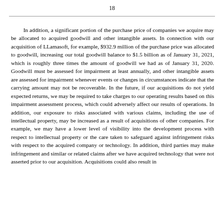18
In addition, a significant portion of the purchase price of companies we acquire may be allocated to acquired goodwill and other intangible assets. In connection with our acquisition of LLamasoft, for example, $932.9 million of the purchase price was allocated to goodwill, increasing our total goodwill balance to $1.5 billion as of January 31, 2021, which is roughly three times the amount of goodwill we had as of January 31, 2020. Goodwill must be assessed for impairment at least annually, and other intangible assets are assessed for impairment whenever events or changes in circumstances indicate that the carrying amount may not be recoverable. In the future, if our acquisitions do not yield expected returns, we may be required to take charges to our operating results based on this impairment assessment process, which could adversely affect our results of operations. In addition, our exposure to risks associated with various claims, including the use of intellectual property, may be increased as a result of acquisitions of other companies. For example, we may have a lower level of visibility into the development process with respect to intellectual property or the care taken to safeguard against infringement risks with respect to the acquired company or technology. In addition, third parties may make infringement and similar or related claims after we have acquired technology that were not asserted prior to our acquisition. Acquisitions could also result in